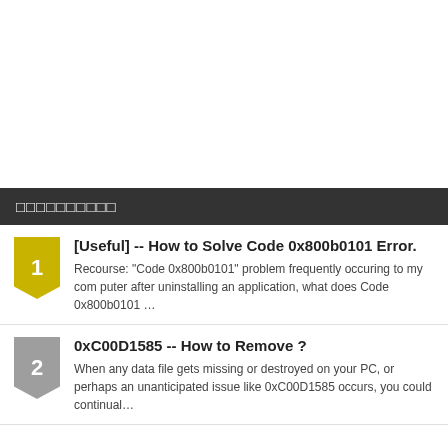□□□□□□□□□□
[Useful] -- How to Solve Code 0x800b0101 Error.
Recourse: "Code 0x800b0101" problem frequently occuring to my computer after uninstalling an application, what does Code 0x800b0101 …
0xC00D1585 -- How to Remove ?
When any data file gets missing or destroyed on your PC, or perhaps an unanticipated issue like 0xC00D1585 occurs, you could continual…